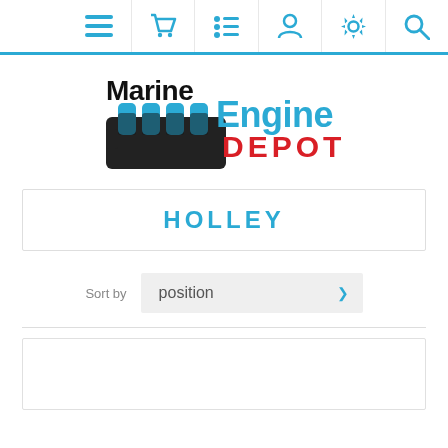[Figure (screenshot): Navigation bar with icons: hamburger menu, shopping cart, list/filter, user profile, settings gear, search magnifier — all in teal/blue color]
[Figure (logo): Marine Engine Depot logo — 'Marine' in black bold, 'Engine' in blue bold, 'DEPOT' in red bold, with stylized engine block graphic]
HOLLEY
Sort by   position
[Figure (other): Partially visible product card area at bottom of page]